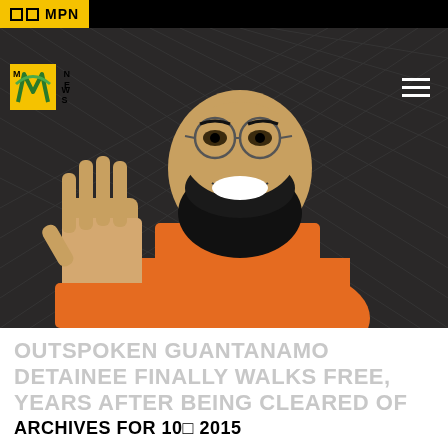□□ MPN
[Figure (photo): A man in an orange prison jumpsuit smiling and waving with his right hand raised, standing in front of a chain-link fence background. He has a large beard and glasses.]
OUTSPOKEN GUANTANAMO DETAINEE FINALLY WALKS FREE, YEARS AFTER BEING CLEARED OF ANY WRONGDOING
ARCHIVES FOR 10□ 2015